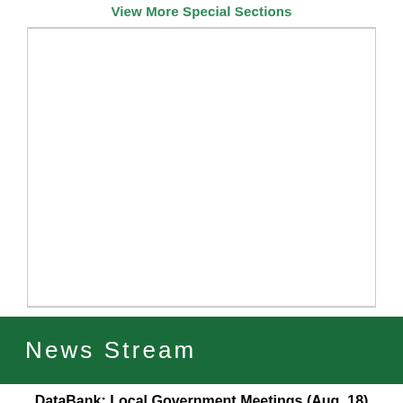View More Special Sections
[Figure (other): Advertisement placeholder white box]
News Stream
DataBank: Local Government Meetings (Aug. 18)